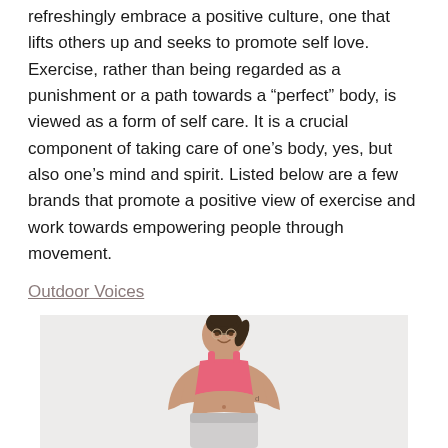refreshingly embrace a positive culture, one that lifts others up and seeks to promote self love. Exercise, rather than being regarded as a punishment or a path towards a “perfect” body, is viewed as a form of self care. It is a crucial component of taking care of one’s body, yes, but also one’s mind and spirit. Listed below are a few brands that promote a positive view of exercise and work towards empowering people through movement.
Outdoor Voices
[Figure (photo): A smiling woman wearing a pink sports bra and light gray athletic shorts, photographed from approximately the waist up against a light gray background.]